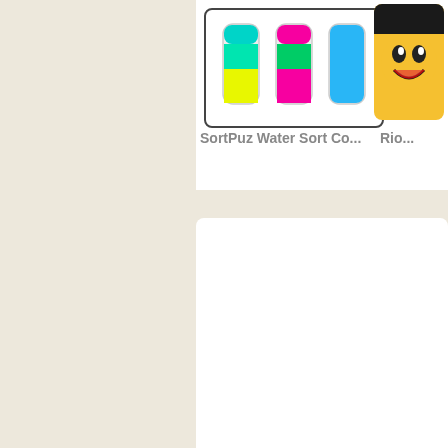[Figure (screenshot): Water sort puzzle game thumbnail showing three test tubes filled with colored liquids (green/cyan/yellow, pink/green/pink, and blue). Partially visible second game thumbnail with yellow emoji character.]
SortPuz Water Sort Co...
Rio...
[Figure (screenshot): Large white content card area (mostly empty/blank white rectangle)]
Powerslide Karts Video